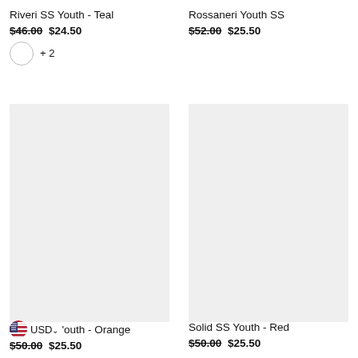Riveri SS Youth - Teal
$46.00 $24.50
+ 2
Rossaneri Youth SS
$52.00 $25.50
[Figure (photo): Product image placeholder left - light gray rectangle]
[Figure (photo): Product image placeholder right - light gray rectangle]
USD Youth - Orange
$50.00 $25.50
Solid SS Youth - Red
$50.00 $25.50